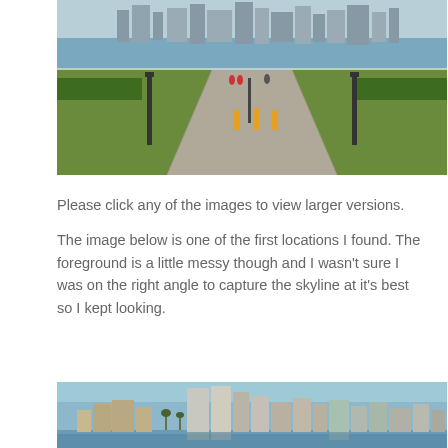[Figure (photo): City skyline viewed from a park path with lamp posts, green grass, bay water, and tall buildings in the background]
Please click any of the images to view larger versions.
The image below is one of the first locations I found. The foreground is a little messy though and I wasn't sure I was on the right angle to capture the skyline at it's best so I kept looking.
[Figure (photo): San Diego city skyline panorama viewed from across the bay, showing tall buildings with reflections in the water]